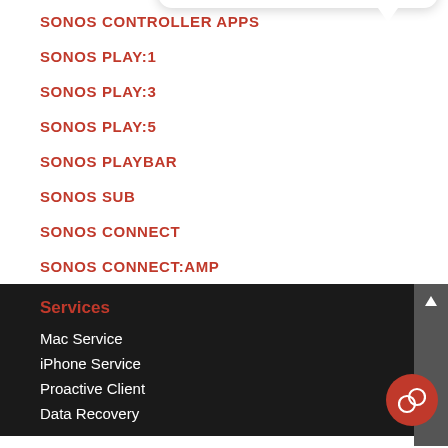SONOS CONTROLLER APPS
SONOS PLAY:1
SONOS PLAY:3
SONOS PLAY:5
SONOS PLAYBAR
SONOS SUB
SONOS CONNECT
SONOS CONNECT:AMP
[Figure (screenshot): Chat widget popup with close button, avatar photo of a woman, and text 'Hi there, have a question? Text us here.' with a red chat icon button]
Services
Mac Service
iPhone Service
Proactive Client
Data Recovery